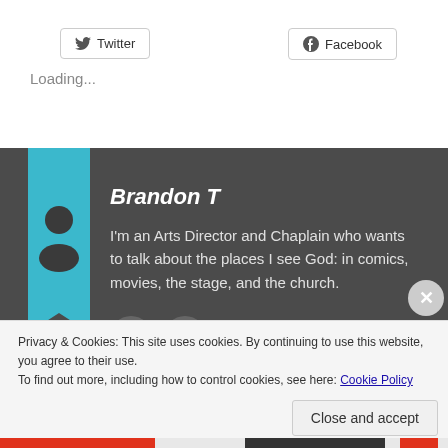[Figure (screenshot): Twitter and Facebook social share buttons]
Loading...
[Figure (infographic): Author profile card with teal bookmark icon, avatar silhouette, name Brandon T, and bio text]
Brandon T
I'm an Arts Director and Chaplain who wants to talk about the places I see God: in comics, movies, the stage, and the church.
Privacy & Cookies: This site uses cookies. By continuing to use this website, you agree to their use.
To find out more, including how to control cookies, see here: Cookie Policy
Close and accept